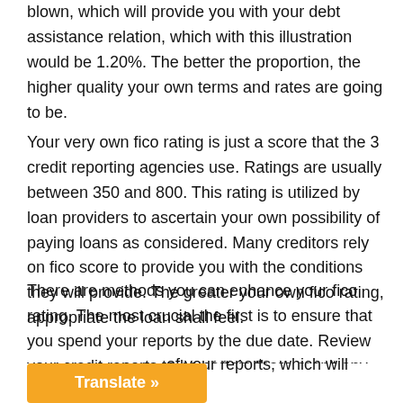blown, which will provide you with your debt assistance relation, which with this illustration would be 1.20%. The better the proportion, the higher quality your own terms and rates are going to be.
Your very own fico rating is just a score that the 3 credit reporting agencies use. Ratings are usually between 350 and 800. This rating is utilized by loan providers to ascertain your own possibility of paying loans as considered. Many creditors rely on fico score to provide you with the conditions they will provide. The greater your own fico rating, appropriate the loan shall feel.
There are methods you can enhance your fico rating. The most crucial the first is to ensure that you spend your reports by the due date. Review your credit reports to be certain there aren't any blunders. If you find an error, you'll be able to argue it to get it adjusted. One other way to enhance your fico score would be to [Translate »] of your reports, which will lower your